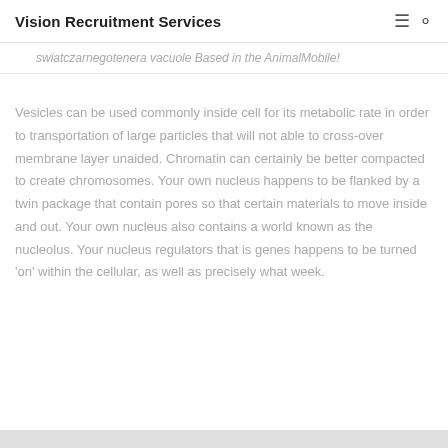Vision Recruitment Services
swiatczarnegotenera vacuole Based in the AnimalMobile!
Vesicles can be used commonly inside cell for its metabolic rate in order to transportation of large particles that will not able to cross-over membrane layer unaided. Chromatin can certainly be better compacted to create chromosomes. Your own nucleus happens to be flanked by a twin package that contain pores so that certain materials to move inside and out. Your own nucleus also contains a world known as the nucleolus. Your nucleus regulators that is genes happens to be turned 'on' within the cellular, as well as precisely what week.